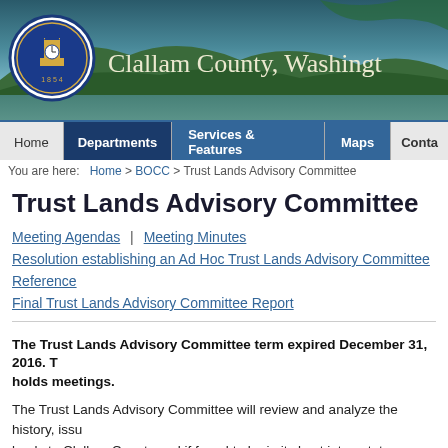[Figure (illustration): Clallam County Washington government website banner with mountain/lake background, county seal (blue circular seal with clock tower, dated 1854), and text 'Clallam County, Washington']
Home | Departments | Services & Features | Maps | Contact navigation bar
You are here: Home > BOCC > Trust Lands Advisory Committee
Trust Lands Advisory Committee
Meeting Agendas | Meeting Minutes
Resolution establishing an Ad Hoc Trust Lands Advisory Committee
Reference
Final Trust Lands Advisory Committee Report
The Trust Lands Advisory Committee term expired December 31, 2016. The committee no longer holds meetings.
The Trust Lands Advisory Committee will review and analyze the history, issues and options for trust lands to Clallam County and if found to be in its best interest, to recommend strategies for future management of these properties.